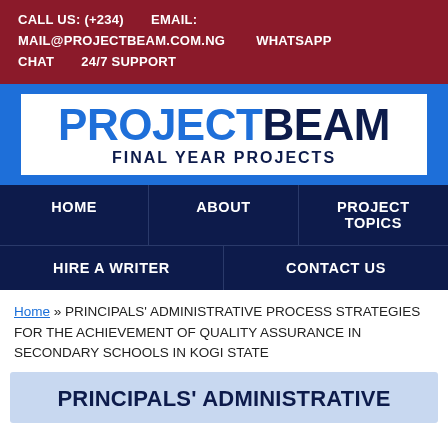CALL US: (+234)    EMAIL: MAIL@PROJECTBEAM.COM.NG    WHATSAPP CHAT    24/7 SUPPORT
[Figure (logo): ProjectBeam Final Year Projects logo — 'PROJECT' in blue, 'BEAM' in dark navy, 'FINAL YEAR PROJECTS' subtitle, on white background with blue border band]
HOME | ABOUT | PROJECT TOPICS | HIRE A WRITER | CONTACT US
Home » PRINCIPALS' ADMINISTRATIVE PROCESS STRATEGIES FOR THE ACHIEVEMENT OF QUALITY ASSURANCE IN SECONDARY SCHOOLS IN KOGI STATE
PRINCIPALS' ADMINISTRATIVE